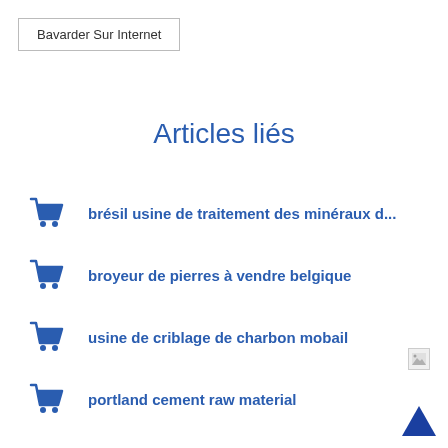Bavarder Sur Internet
Articles liés
brésil usine de traitement des minéraux d...
broyeur de pierres à vendre belgique
usine de criblage de charbon mobail
portland cement raw material
[Figure (illustration): Blue upward-pointing arrow triangle button at bottom right corner]